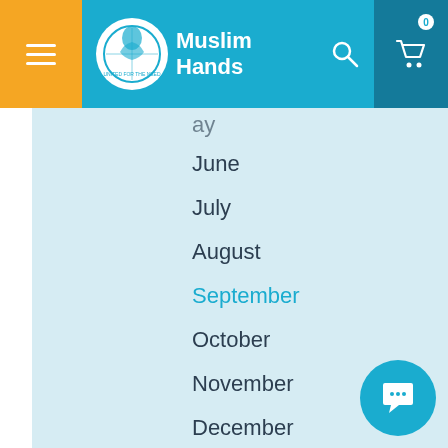Muslim Hands
June
July
August
September
October
November
December
2016
2015
CATEGORIES